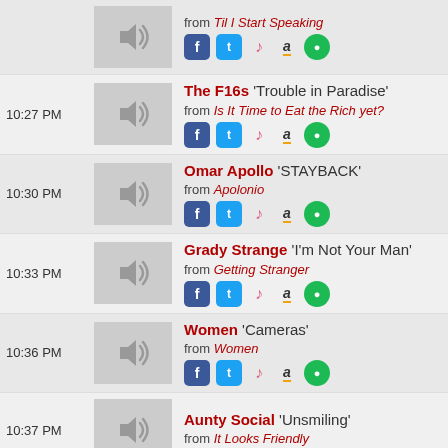[partial] from Til I Start Speaking
10:27 PM — The F16s 'Trouble in Paradise' from Is It Time to Eat the Rich yet?
10:30 PM — Omar Apollo 'STAYBACK' from Apolonio
10:33 PM — Grady Strange 'I'm Not Your Man' from Getting Stranger
10:36 PM — Women 'Cameras' from Women
10:37 PM — Aunty Social 'Unsmiling' from It Looks Friendly